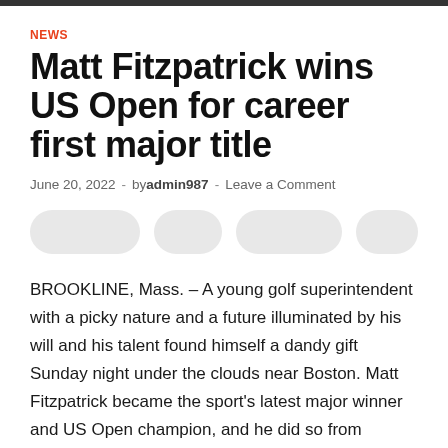NEWS
Matt Fitzpatrick wins US Open for career first major title
June 20, 2022  -  by admin987  -  Leave a Comment
[Figure (other): Four rounded pill/button shapes in light gray, representing social sharing buttons]
BROOKLINE, Mass. – A young golf superintendent with a picky nature and a future illuminated by his will and his talent found himself a dandy gift Sunday night under the clouds near Boston. Matt Fitzpatrick became the sport's latest major winner and US Open champion, and he did so from something inadvisable sand.